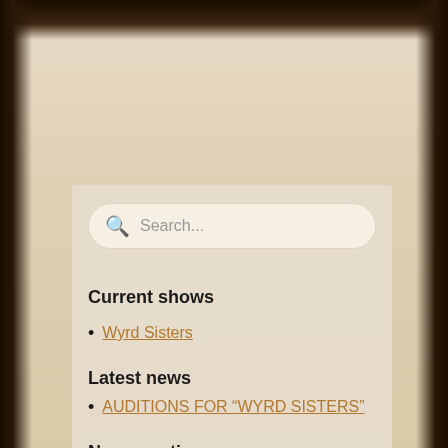[Figure (screenshot): Search bar with magnifying glass icon and placeholder text 'Search...']
Current shows
Wyrd Sisters
Latest news
AUDITIONS FOR “WYRD SISTERS”
News sections
Audition notices
General news
Multi-dimensional news
All our shows (alphabetical)